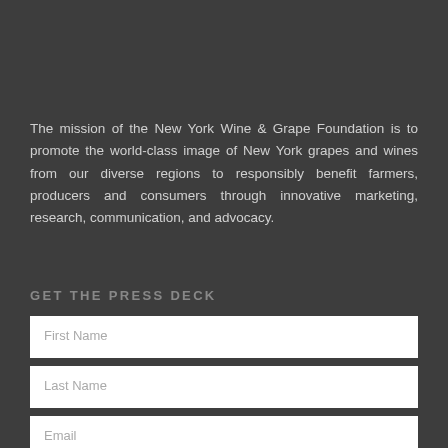The mission of the New York Wine & Grape Foundation is to promote the world-class image of New York grapes and wines from our diverse regions to responsibly benefit farmers, producers and consumers through innovative marketing, research, communication, and advocacy.
GET THE PRESS DECK
First Name
Last Name
Email